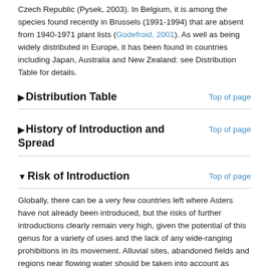Czech Republic (Pysek, 2003). In Belgium, it is among the species found recently in Brussels (1991-1994) that are absent from 1940-1971 plant lists (Godefroid, 2001). As well as being widely distributed in Europe, it has been found in countries including Japan, Australia and New Zealand: see Distribution Table for details.
Distribution Table
History of Introduction and Spread
Risk of Introduction
Globally, there can be a very few countries left where Asters have not already been introduced, but the risks of further introductions clearly remain very high, given the potential of this genus for a variety of uses and the lack of any wide-ranging prohibitions in its movement. Alluvial sites, abandoned fields and regions near flowing water should be taken into account as potential entries of these species. There is a high likelihood of deliberate introduction of S. novi-belgii because of its intended and wide use as an ornamental plant, and it can then be